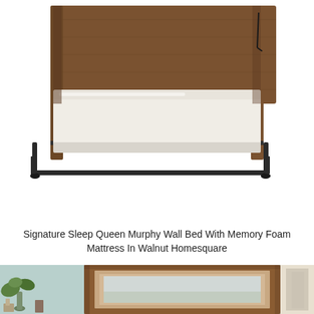[Figure (photo): Signature Sleep Queen Murphy Wall Bed with memory foam mattress deployed, showing walnut wood cabinet frame on sides and back, white mattress on black metal frame, white background.]
Signature Sleep Queen Murphy Wall Bed With Memory Foam Mattress In Walnut Homesquare
[Figure (photo): Room scene showing the Murphy bed cabinet closed, mounted on a light blue/teal wall, with walnut wood frame border visible, a framed artwork inside the panel, and decor items on the left side.]